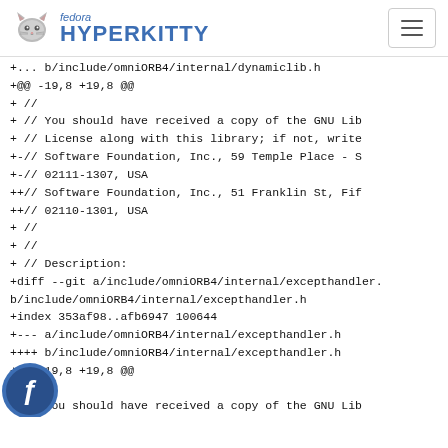fedora HYPERKITTY
+... b/include/omniORB4/internal/dynamiclib.h
+@@ -19,8 +19,8 @@
+ //
+ //     You should have received a copy of the GNU Lib
+ //     License along with this library; if not, write
+-//     Software Foundation, Inc., 59 Temple Place - S
+-//     02111-1307, USA
+++//     Software Foundation, Inc., 51 Franklin St, Fif
+++//     02110-1301, USA
+ //
+ //
+ // Description:
+diff --git a/include/omniORB4/internal/excepthandler.
b/include/omniORB4/internal/excepthandler.h
+index 353af98..afb6947 100644
++--- a/include/omniORB4/internal/excepthandler.h
+++++ b/include/omniORB4/internal/excepthandler.h
+@@ -19,8 +19,8 @@
+-
+ //     You should have received a copy of the GNU Lib